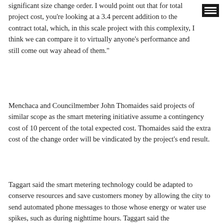significant size change order. I would point out that for total project cost, you’re looking at a 3.4 percent addition to the contract total, which, in this scale project with this complexity, I think we can compare it to virtually anyone’s performance and still come out way ahead of them.”
Menchaca and Councilmember John Thomaides said projects of similar scope as the smart metering initiative assume a contingency cost of 10 percent of the total expected cost. Thomaides said the extra cost of the change order will be vindicated by the project’s end result.
Taggart said the smart metering technology could be adapted to conserve resources and save customers money by allowing the city to send automated phone messages to those whose energy or water use spikes, such as during nighttime hours. Taggart said the